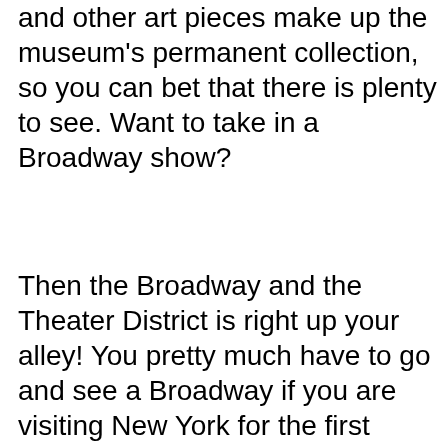and other art pieces make up the museum's permanent collection, so you can bet that there is plenty to see. Want to take in a Broadway show?
Then the Broadway and the Theater District is right up your alley! You pretty much have to go and see a Broadway if you are visiting New York for the first time, and it is still highly